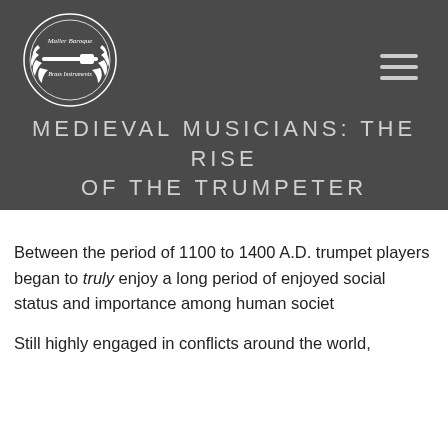[Figure (logo): Maller Baroque Brass Instruments circular logo with laurel wreath, white on dark background]
MEDIEVAL MUSICIANS: THE RISE OF THE TRUMPETER
Between the period of 1100 to 1400 A.D. trumpet players began to truly enjoy a long period of enjoyed social status and importance among human society.
Still highly engaged in conflicts around the world,